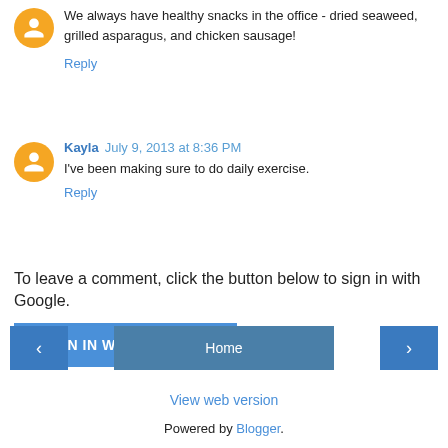We always have healthy snacks in the office - dried seaweed, grilled asparagus, and chicken sausage!
Reply
Kayla July 9, 2013 at 8:36 PM
I've been making sure to do daily exercise.
Reply
To leave a comment, click the button below to sign in with Google.
SIGN IN WITH GOOGLE
Home
View web version
Powered by Blogger.